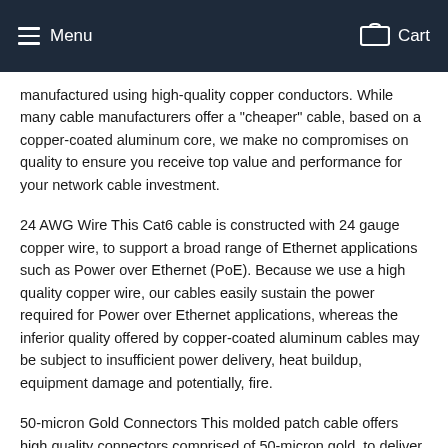Menu   Cart
manufactured using high-quality copper conductors. While many cable manufacturers offer a "cheaper" cable, based on a copper-coated aluminum core, we make no compromises on quality to ensure you receive top value and performance for your network cable investment.
24 AWG Wire This Cat6 cable is constructed with 24 gauge copper wire, to support a broad range of Ethernet applications such as Power over Ethernet (PoE). Because we use a high quality copper wire, our cables easily sustain the power required for Power over Ethernet applications, whereas the inferior quality offered by copper-coated aluminum cables may be subject to insufficient power delivery, heat buildup, equipment damage and potentially, fire.
50-micron Gold Connectors This molded patch cable offers high quality connectors comprised of 50-micron gold, to deliver optimum conductivity while eliminating signal loss due to oxidation or corrosion.